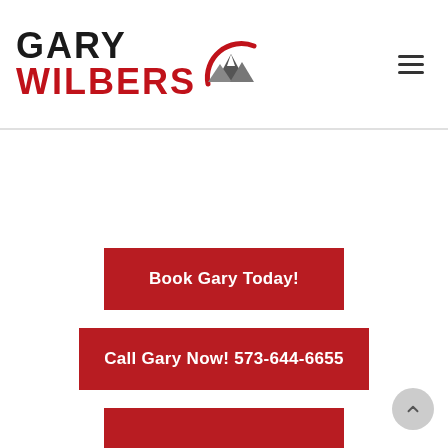[Figure (logo): Gary Wilbers logo with mountain graphic and red arc]
[Figure (other): Hamburger menu icon (three horizontal lines)]
Book Gary Today!
Call Gary Now! 573-644-6655